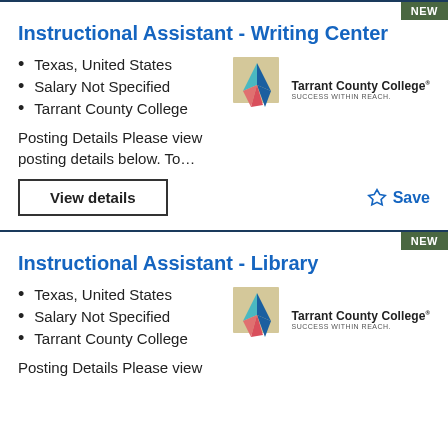Instructional Assistant - Writing Center
Texas, United States
Salary Not Specified
Tarrant County College
Posting Details Please view posting details below. To…
[Figure (logo): Tarrant County College logo with star icon and tagline SUCCESS WITHIN REACH.]
Instructional Assistant - Library
Texas, United States
Salary Not Specified
Tarrant County College
Posting Details Please view
[Figure (logo): Tarrant County College logo with star icon and tagline SUCCESS WITHIN REACH.]